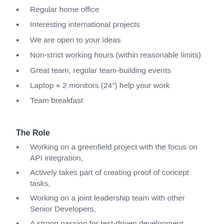Regular home office
Interesting international projects
We are open to your ideas
Non-strict working hours (within reasonable limits)
Great team, regular team-building events
Laptop + 2 monitors (24”) help your work
Team breakfast
The Role
Working on a greenfield project with the focus on API integration,
Actively takes part of creating proof of concept tasks,
Working on a joint leadership team with other Senior Developers,
A strong passion for test-driven development,